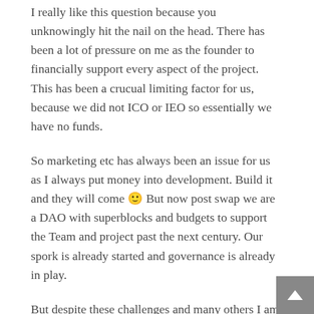I really like this question because you unknowingly hit the nail on the head. There has been a lot of pressure on me as the founder to financially support every aspect of the project. This has been a crucual limiting factor for us, because we did not ICO or IEO so essentially we have no funds.
So marketing etc has always been an issue for us as I always put money into development. Build it and they will come 🙂 But now post swap we are a DAO with superblocks and budgets to support the Team and project past the next century. Our spork is already started and governance is already in play.
But despite these challenges and many others I am very proud of Terrabit and CREDIT both old and new versions. We have built a rock sold foundation with great tech that achieves the goals we set out to achieve. The rest is just money and marketing really and of course time 🙂